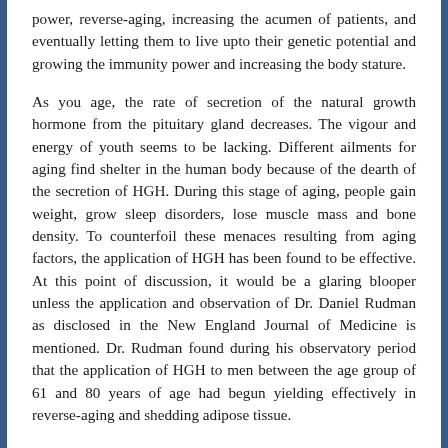power, reverse-aging, increasing the acumen of patients, and eventually letting them to live upto their genetic potential and growing the immunity power and increasing the body stature.
As you age, the rate of secretion of the natural growth hormone from the pituitary gland decreases. The vigour and energy of youth seems to be lacking. Different ailments for aging find shelter in the human body because of the dearth of the secretion of HGH. During this stage of aging, people gain weight, grow sleep disorders, lose muscle mass and bone density. To counterfoil these menaces resulting from aging factors, the application of HGH has been found to be effective. At this point of discussion, it would be a glaring blooper unless the application and observation of Dr. Daniel Rudman as disclosed in the New England Journal of Medicine is mentioned. Dr. Rudman found during his observatory period that the application of HGH to men between the age group of 61 and 80 years of age had begun yielding effectively in reverse-aging and shedding adipose tissue.